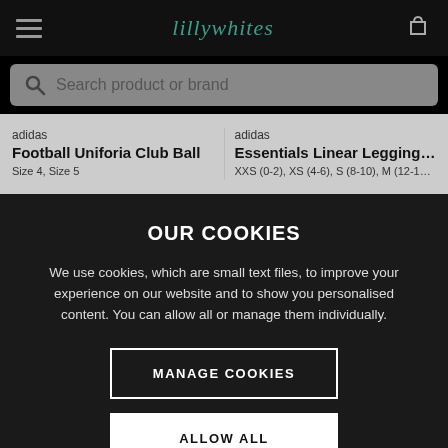Lillywhites
Search product or brand
adidas
Football Uniforia Club Ball
Size 4, Size 5
adidas
Essentials Linear Leggings ...
XXS (0-2), XS (4-6), S (8-10), M (12-14), L
OUR COOKIES
We use cookies, which are small text files, to improve your experience on our website and to show you personalised content. You can allow all or manage them individually.
MANAGE COOKIES
ALLOW ALL